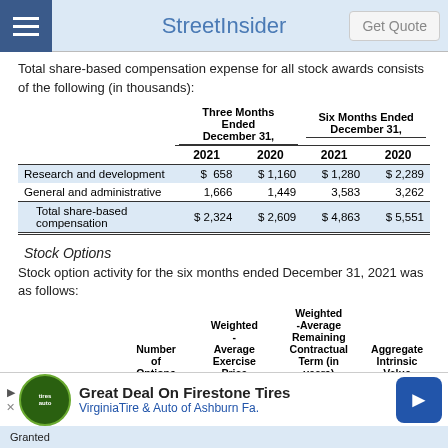StreetInsider  Get Quote
Total share-based compensation expense for all stock awards consists of the following (in thousands):
|  | Three Months Ended December 31, 2021 | Three Months Ended December 31, 2020 | Six Months Ended December 31, 2021 | Six Months Ended December 31, 2020 |
| --- | --- | --- | --- | --- |
| Research and development | $ 658 | $ 1,160 | $ 1,280 | $ 2,289 |
| General and administrative | 1,666 | 1,449 | 3,583 | 3,262 |
| Total share-based compensation | $ 2,324 | $ 2,609 | $ 4,863 | $ 5,551 |
Stock Options
Stock option activity for the six months ended December 31, 2021 was as follows:
|  | Number of Options | Weighted -Average Exercise Price | Weighted -Average Remaining Contractual Term (in years) | Aggregate Intrinsic Value |
| --- | --- | --- | --- | --- |
| Outstanding |  |  |  |  |
| Granted |  |  |  |  |